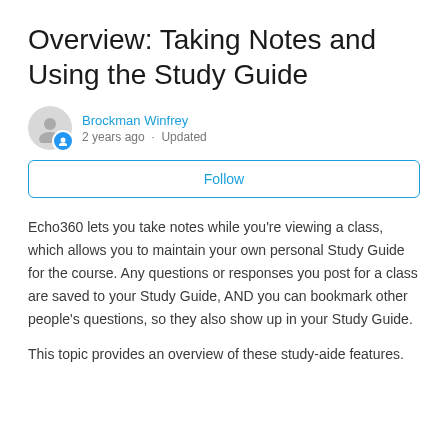Overview: Taking Notes and Using the Study Guide
Brockman Winfrey
2 years ago · Updated
Follow
Echo360 lets you take notes while you're viewing a class, which allows you to maintain your own personal Study Guide for the course. Any questions or responses you post for a class are saved to your Study Guide, AND you can bookmark other people's questions, so they also show up in your Study Guide.
This topic provides an overview of these study-aide features.